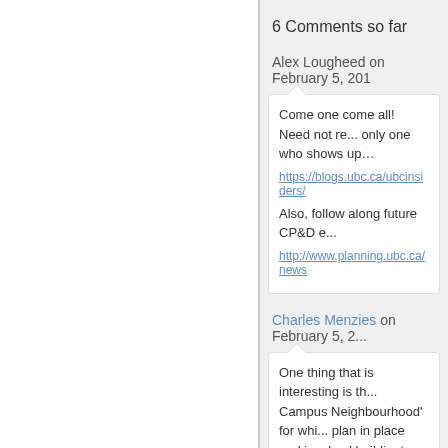6 Comments so far
Alex Lougheed on February 5, 201...
Come one come all! Need not re... only one who shows up…

https://blogs.ubc.ca/ubcinsiders/...

Also, follow along future CP&D e...

http://www.planning.ubc.ca/news...
Charles Menzies on February 5, 2...
One thing that is interesting is th... Campus Neighbourhood' for whi... plan in place and involved buildi... top of MacGinnis (sp?) Field, the... what is currently the diesel bus l... Campus Area is part of the UNA... housing/development like Mid-C... Theological Precinct. It will be in... changing face of UBC Pr...